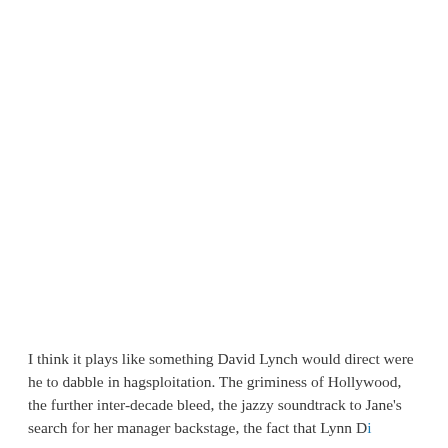I think it plays like something David Lynch would direct were he to dabble in hagsploitation. The griminess of Hollywood, the further inter-decade bleed, the jazzy soundtrack to Jane's search for her manager backstage, the fact that Lynn D...